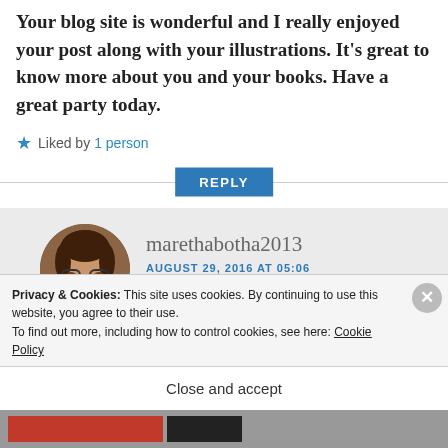Your blog site is wonderful and I really enjoyed your post along with your illustrations. It's great to know more about you and your books. Have a great party today.
Liked by 1 person
REPLY
marethabotha2013
AUGUST 29, 2016 AT 05:06
Privacy & Cookies: This site uses cookies. By continuing to use this website, you agree to their use. To find out more, including how to control cookies, see here: Cookie Policy
Close and accept